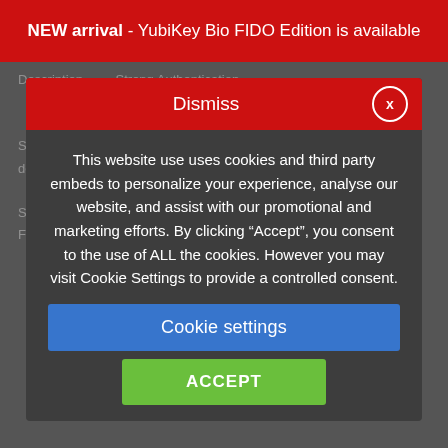NEW arrival - YubiKey Bio FIDO Edition is available
This website use uses cookies and third party embeds to personalize your experience, analyse our website, and assist with our promotional and marketing efforts. By clicking “Accept”, you consent to the use of ALL the cookies. However you may visit Cookie Settings to provide a controlled consent.
Cookie settings
ACCEPT